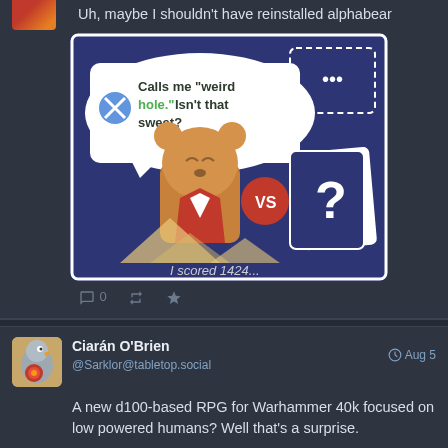[Figure (screenshot): Alphabear game screenshot showing a bear character vs unknown opponent with speech bubble saying 'Calls me weird hole. Isn't that sweet?' and text at bottom 'I scored 1424...']
Uh, maybe I shouldn't have reinstalled alphabear
0  [retweet icon]  [star icon]
[Figure (photo): Avatar of Ciarán O'Brien - pigeon with red rosette medal]
Ciarán O'Brien @Sarklor@tabletop.social Aug 5
A new d100-based RPG for Warhammer 40k focused on low powered humans? Well that's a surprise.
0  [retweet icon]  [star icon]